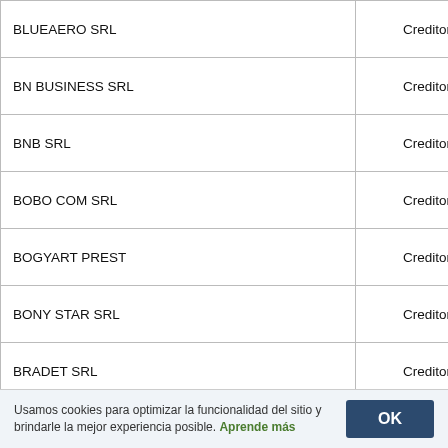| BLUEAERO SRL | Creditor |
| BN BUSINESS SRL | Creditor |
| BNB SRL | Creditor |
| BOBO COM SRL | Creditor |
| BOGYART PREST | Creditor |
| BONY STAR SRL | Creditor |
| BRADET SRL | Creditor |
| BRD GROUPE SOCIETE GENERALE SA prin Sucursala Dorobanți | Creditor |
| BRIALEXIAZZO CONSTRUCT SRL | Creditor |
| BRINCON SRL | Creditor |
| BUCURA PREST SRL | Creditor |
| BUMBAS FLORIN | Creditor |
| BYONS SRL | Creditor |
Usamos cookies para optimizar la funcionalidad del sitio y brindarle la mejor experiencia posible. Aprende más  OK